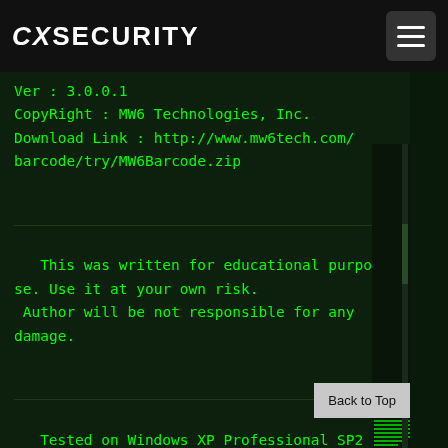CXSECURITY
Ver : 3.0.0.1
CopyRight : MW6 Technologies, Inc.
Download Link : http://www.mw6tech.com/barcode/try/MW6Barcode.zip

 This was written for educational purpose. Use it at your own risk.
 Author will be not responsible for any damage.

 Tested on Windows XP Professional SP2 all patched, with Internet Explorer 6

This control contains two methods SaveAsBMP(); And SaveAsWMF();


Sub SaveAsWMF (
Back to Top